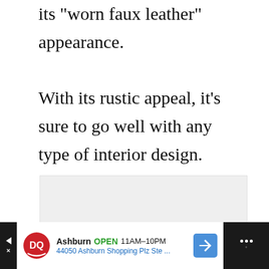its 'worn faux leather' appearance. With its rustic appeal, it's sure to go well with any type of interior design.
[Figure (photo): A large light gray rectangular image placeholder area]
[Figure (infographic): Dairy Queen advertisement banner at the bottom showing Ashburn location, OPEN 11AM-10PM, address 44050 Ashburn Shopping Plz Ste...]